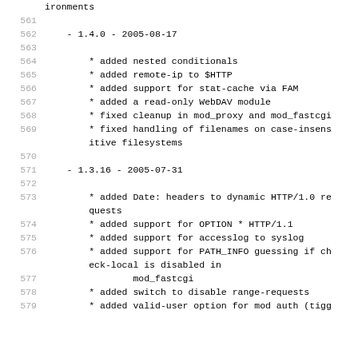ironments
561
562     - 1.4.0 - 2005-08-17
563
564         * added nested conditionals
565         * added remote-ip to $HTTP
566         * added support for stat-cache via FAM
567         * added a read-only WebDAV module
568         * fixed cleanup in mod_proxy and mod_fastcgi
569         * fixed handling of filenames on case-insens
itive filesystems
570
571     - 1.3.16 - 2005-07-31
572
573         * added Date: headers to dynamic HTTP/1.0 re
quests
574         * added support for OPTION * HTTP/1.1
575         * added support for accesslog to syslog
576         * added support for PATH_INFO guessing if ch
eck-local is disabled in
577                 mod_fastcgi
578         * added switch to disable range-requests
579         * added valid-user option for mod auth (tigg